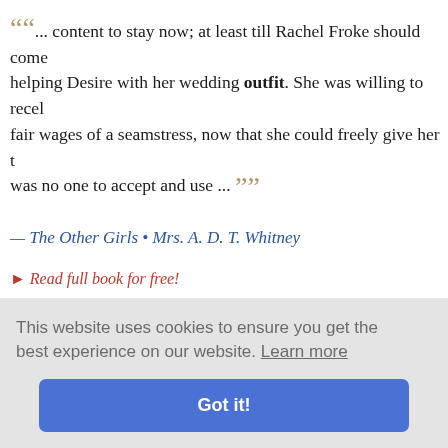“... content to stay now; at least till Rachel Froke should come helping Desire with her wedding outfit. She was willing to receive fair wages of a seamstress, now that she could freely give her t was no one to accept and use ...”
— The Other Girls • Mrs. A. D. T. Whitney
▸ Read full book for free!
“... of course, a chance that another strike might happen, and trudging home, nevertheless Johnnie could not resist the tempt the precious outfit, seeing himself in it, and showing himself to first he took a thorough hand-wash, this to guard against soiling to insure against surprise while he was putting the clothes on, h
morris ...
s, and so f negrin danc
forty pounds, and ...
This website uses cookies to ensure you get the best experience on our website. Learn more
Got it!